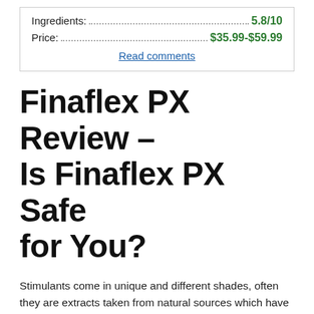| Ingredients: | 5.8/10 |
| Price: | $35.99-$59.99 |
Read comments
Finaflex PX Review – Is Finaflex PX Safe for You?
Stimulants come in unique and different shades, often they are extracts taken from natural sources which have shown an increase of energy and calorie burning. The idea presented is to give off a series of effects at a noticeable rate. For coffee and tea crowds this must be fine tuned within your health thereof the above. For others who have